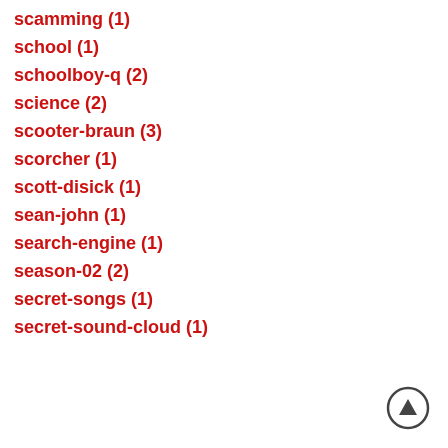scamming (1)
school (1)
schoolboy-q (2)
science (2)
scooter-braun (3)
scorcher (1)
scott-disick (1)
sean-john (1)
search-engine (1)
season-02 (2)
secret-songs (1)
secret-sound-cloud (1)